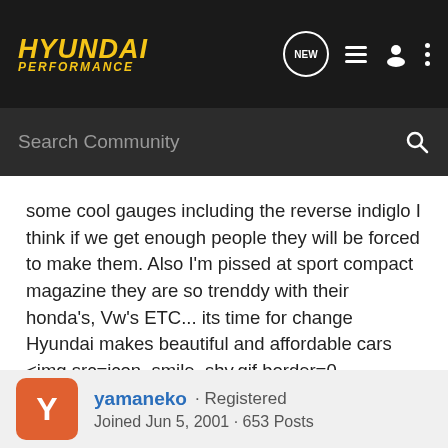HYUNDAI PERFORMANCE
some cool gauges including the reverse indiglo I think if we get enough people they will be forced to make them. Also I'm pissed at sport compact magazine they are so trenddy with their honda's, Vw's ETC... its time for change Hyundai makes beautiful and affordable cars <img src=icon_smile_shy.gif border=0 align=middle>
yamaneko · Registered
Joined Jun 5, 2001 · 653 Posts